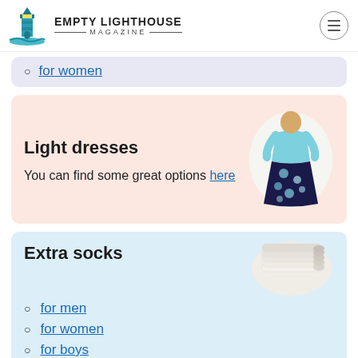EMPTY LIGHTHOUSE MAGAZINE
for women
Light dresses
You can find some great options here
[Figure (photo): Woman wearing a floral maxi dress with light blue top and dark navy floral skirt]
Extra socks
[Figure (photo): Stack of white ankle socks]
for men
for women
for boys
for girls